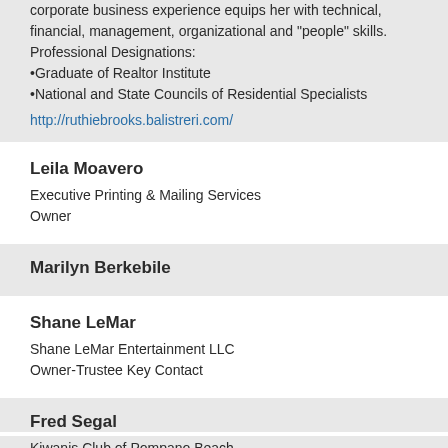corporate business experience equips her with technical, financial, management, organizational and "people" skills.
Professional Designations:
•Graduate of Realtor Institute
•National and State Councils of Residential Specialists

http://ruthiebrooks.balistreri.com/
Leila Moavero
Executive Printing & Mailing Services
Owner
Marilyn Berkebile
Shane LeMar
Shane LeMar Entertainment LLC
Owner-Trustee Key Contact
Fred Segal
Kiwanis Club of Pompano Beach
President